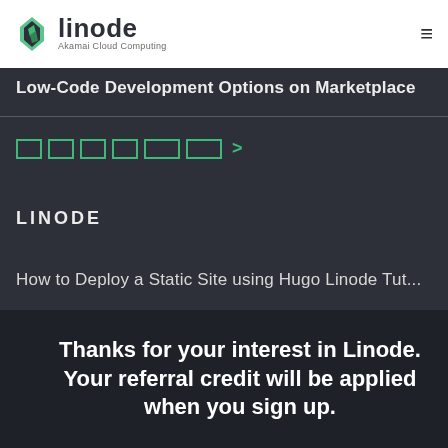linode | Akamai Cloud Computing
Low-Code Development Options on Marketplace
[Figure (other): Green outlined boxes (pagination/category icons) with a right arrow, in green color]
LINODE
How to Deploy a Static Site using Hugo Linode Tut...
Thanks for your interest in Linode. Your referral credit will be applied when you sign up.